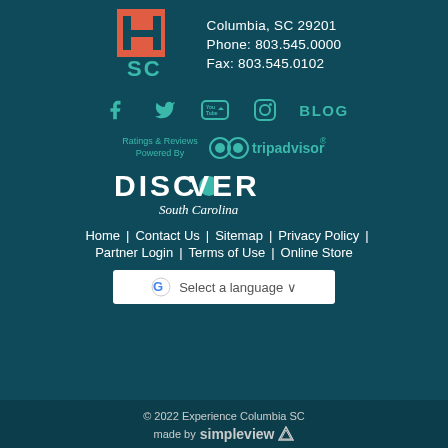[Figure (logo): Experience Columbia SC logo with red/orange blocks and teal SC letters]
Columbia, SC 29201
Phone: 803.545.0000
Fax: 803.545.0102
[Figure (infographic): Social media icons row: Facebook, Twitter, YouTube, Instagram, BLOG]
[Figure (logo): Ratings & Reviews Powered By TripAdvisor logo]
[Figure (logo): Discover South Carolina logo]
Home | Contact Us | Sitemap | Privacy Policy | Partner Login | Terms of Use | Online Store
[Figure (other): Google Translate Select a language dropdown button]
© 2022 Experience Columbia SC
made by simpleview
[Figure (logo): Simpleview logo with triangle symbol]